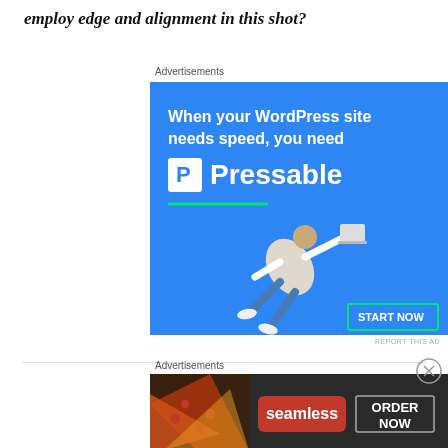employ edge and alignment in this shot?
Advertisements
[Figure (illustration): Blue advertisement banner for Pressable WordPress hosting. Text reads: 'When your WordPress site needs speed, you need' with Pressable logo and 'START NOW' button. A person is shown flying/leaping diagonally.]
REPORT THIS AD
Advertisements
[Figure (illustration): Seamless food delivery advertisement on dark background with pizza image, Seamless logo in red, and 'ORDER NOW' button.]